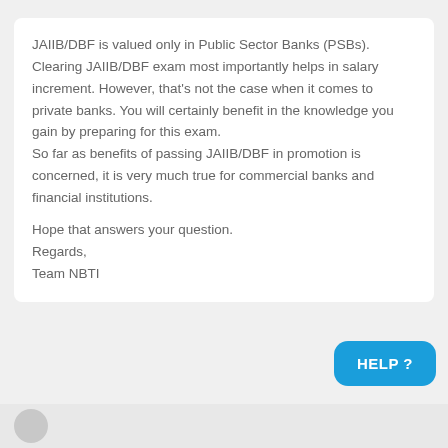JAIIB/DBF is valued only in Public Sector Banks (PSBs). Clearing JAIIB/DBF exam most importantly helps in salary increment. However, that's not the case when it comes to private banks. You will certainly benefit in the knowledge you gain by preparing for this exam. So far as benefits of passing JAIIB/DBF in promotion is concerned, it is very much true for commercial banks and financial institutions.

Hope that answers your question.

Regards,
Team NBTI
[Figure (other): Blue help button in bottom-right corner with text HELP?]